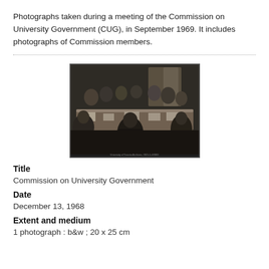Photographs taken during a meeting of the Commission on University Government (CUG), in September 1969. It includes photographs of Commission members.
[Figure (photo): Black and white photograph of people seated around a long conference table during a meeting of the Commission on University Government.]
Title
Commission on University Government
Date
December 13, 1968
Extent and medium
1 photograph : b&w ; 20 x 25 cm